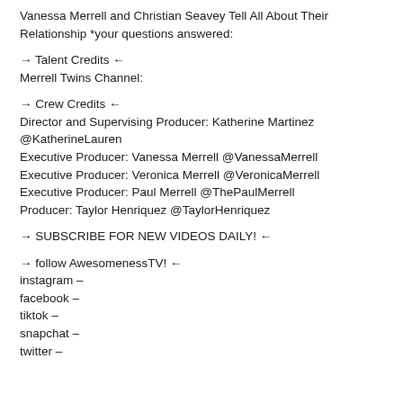Vanessa Merrell and Christian Seavey Tell All About Their Relationship *your questions answered:
→ Talent Credits ←
Merrell Twins Channel:
→ Crew Credits ←
Director and Supervising Producer: Katherine Martinez @KatherineLauren
Executive Producer: Vanessa Merrell @VanessaMerrell
Executive Producer: Veronica Merrell @VeronicaMerrell
Executive Producer: Paul Merrell @ThePaulMerrell
Producer: Taylor Henriquez @TaylorHenriquez
→ SUBSCRIBE FOR NEW VIDEOS DAILY! ←
→ follow AwesomenessTV! ←
instagram –
facebook –
tiktok –
snapchat –
twitter –